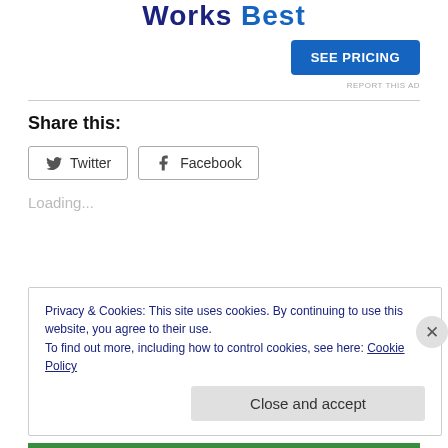Works Best
[Figure (other): SEE PRICING button - blue rounded rectangle]
REPORT THIS AD
Share this:
[Figure (other): Twitter share button with Twitter bird icon]
[Figure (other): Facebook share button with Facebook icon]
Loading...
Privacy & Cookies: This site uses cookies. By continuing to use this website, you agree to their use.
To find out more, including how to control cookies, see here: Cookie Policy
Close and accept